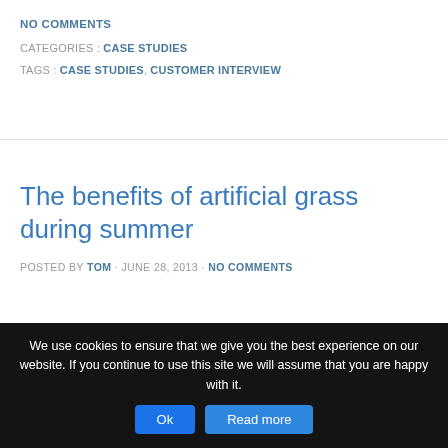NO COMMENTS
CATEGORIES : CASE STUDIES
TAGS : CASE STUDIES, CUSTOMER INTERVIEW
The benefits of artificial grass during summer
POSTED BY TOM · JUNE 28, 2013 · NO COMMENTS
We use cookies to ensure that we give you the best experience on our website. If you continue to use this site we will assume that you are happy with it.